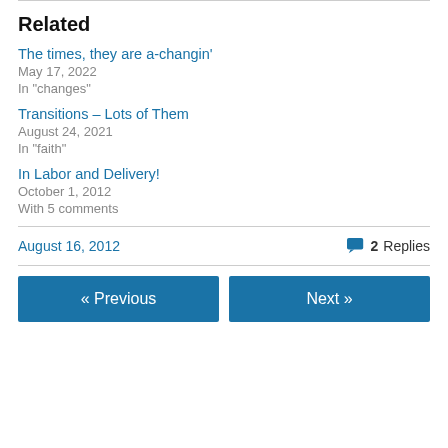Related
The times, they are a-changin'
May 17, 2022
In "changes"
Transitions – Lots of Them
August 24, 2021
In "faith"
In Labor and Delivery!
October 1, 2012
With 5 comments
August 16, 2012    💬 2 Replies
« Previous    Next »